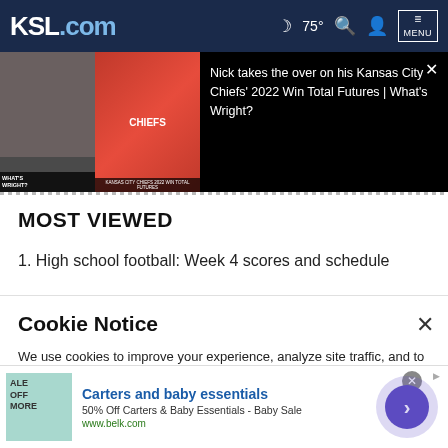KSL.com  75°  Search  Account  MENU
[Figure (screenshot): Video thumbnail showing two panels: a man speaking into a microphone on left, and a Kansas City Chiefs player in red uniform running on right. Video title bar reads 'WHAT'S WRIGHT? | KANSAS CITY CHIEFS 2022 WIN TOTAL FUTURES']
Nick takes the over on his Kansas City Chiefs' 2022 Win Total Futures | What's Wright?
MOST VIEWED
1. High school football: Week 4 scores and schedule
Cookie Notice
We use cookies to improve your experience, analyze site traffic, and to personalize content and ads. By continuing to use our site, you consent to our use of cookies. Please visit our Terms of Use and Privacy Policy for more information
[Figure (screenshot): Advertisement for Carters and baby essentials: 50% Off Carters & Baby Essentials - Baby Sale. www.belk.com]